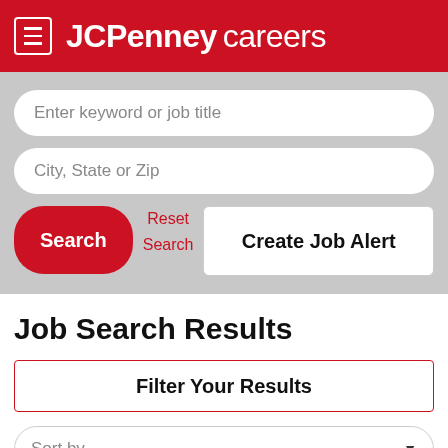JCPenney careers
Enter keyword or job title
City, State or Zip
Search
Reset Search
Create Job Alert
Job Search Results
Filter Your Results
Sort by
Salon Manager BTC - Woodland Hills Mall (Tulsa,